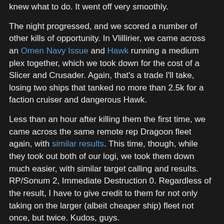knew what to do. It went off very smoothly.
The night progressed, and we scored a number of other kills of opportunity. In Vlillirier, we came across an Omen Navy Issue and Hawk running a medium plex together, which we took down for the cost of a Slicer and Crusader. Again, that's a trade I'll take, losing two ships that tanked no more than 2.5k for a faction cruiser and dangerous Hawk.
Less than an hour after killing them the first time, we came across the same remote rep Dragoon fleet again, with similar results. This time, though, while they took out both of our logi, we took them down much easier, with similar target calling and results. RP/Sonum 2, Immediate Destruction 0. Regardless of the result, I have to give credit to them for not only taking on the larger (albeit cheaper ship) fleet not once, but twice. Kudos, guys.
We headed back home for the night, with me feeling pretty pleased. As we made our way to Nannaras, we ran into a larger fleet that I wisely decided not to engage; they were flying much bigger and more powerful ships, so I turned the